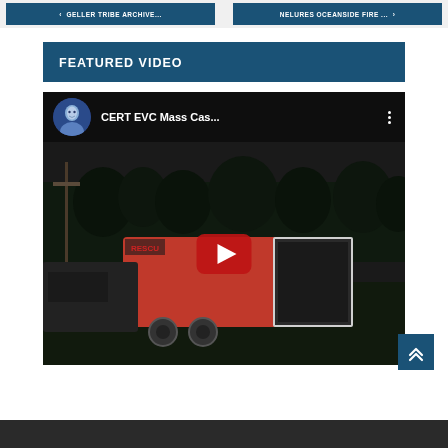< GELLER TRIBE ARCHIVE...    Nelures Oceanside Fire ... >
FEATURED VIDEO
[Figure (screenshot): YouTube video embed showing 'CERT EVC Mass Cas...' with a dark outdoor scene of a red rescue trailer, a YouTube play button overlay, and a channel avatar (historical portrait illustration) in the video header bar.]